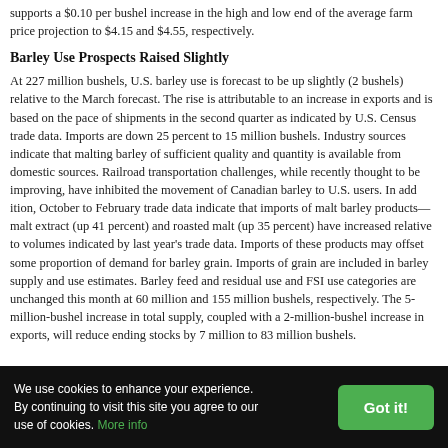supports a $0.10 per bushel increase in the high and low end of the average farm price projection to $4.15 and $4.55, respectively.
Barley Use Prospects Raised Slightly
At 227 million bushels, U.S. barley use is forecast to be up slightly (2 bushels) relative to the March forecast. The rise is attributable to an increase in exports and is based on the pace of shipments in the second quarter as indicated by U.S. Census trade data. Imports are down 25 percent to 15 million bushels. Industry sources indicate that malting barley of sufficient quality and quantity is available from domestic sources. Railroad transportation challenges, while recently thought to be improving, have inhibited the movement of Canadian barley to U.S. users. In addition, October to February trade data indicate that imports of malt barley products—malt extract (up 41 percent) and roasted malt (up 35 percent) have increased relative to volumes indicated by last year's trade data. Imports of these products may offset some proportion of demand for barley grain. Imports of grain are included in barley supply and use estimates. Barley feed and residual use and FSI use categories are unchanged this month at 60 million and 155 million bushels, respectively. The 5-million-bushel increase in total supply, coupled with a 2-million-bushel increase in exports, will reduce ending stocks by 7 million to 83 million bushels.
We use cookies to enhance your experience. By continuing to visit this site you agree to our use of cookies. More info
Got it!